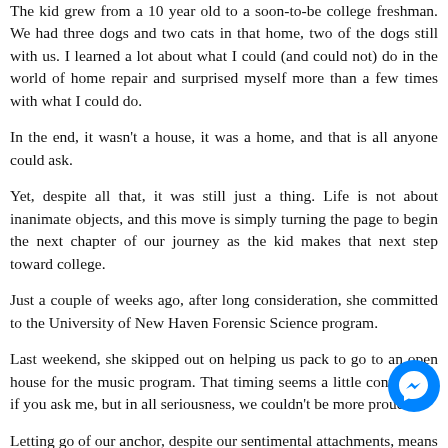The kid grew from a 10 year old to a soon-to-be college freshman. We had three dogs and two cats in that home, two of the dogs still with us. I learned a lot about what I could (and could not) do in the world of home repair and surprised myself more than a few times with what I could do.
In the end, it wasn't a house, it was a home, and that is all anyone could ask.
Yet, despite all that, it was still just a thing. Life is not about inanimate objects, and this move is simply turning the page to begin the next chapter of our journey as the kid makes that next step toward college.
Just a couple of weeks ago, after long consideration, she committed to the University of New Haven Forensic Science program.
Last weekend, she skipped out on helping us pack to go to an open house for the music program. That timing seems a little convenient, if you ask me, but in all seriousness, we couldn't be more proud.
Letting go of our anchor, despite our sentimental attachments, means